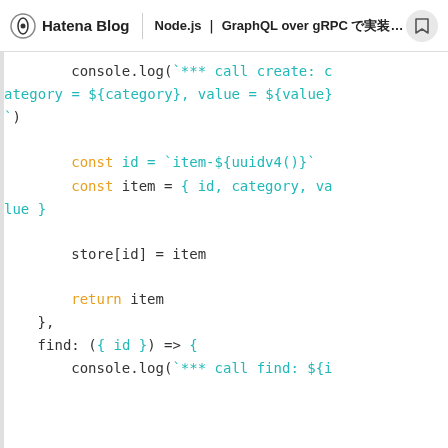Hatena Blog | Node.js ｜ GraphQL over gRPC で実装してみた
console.log(`*** call create: category = ${category}, value = ${value}`)

        const id = `item-${uuidv4()}`
        const item = { id, category, value }

        store[id] = item

        return item
    },
    find: ({ id }) => {
        console.log(`*** call find: ${i